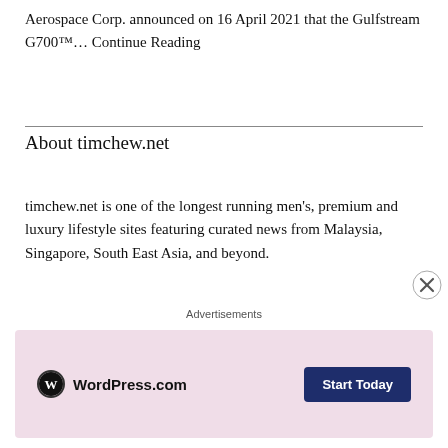Aerospace Corp. announced on 16 April 2021 that the Gulfstream G700™… Continue Reading
About timchew.net
timchew.net is one of the longest running men's, premium and luxury lifestyle sites featuring curated news from Malaysia, Singapore, South East Asia, and beyond.
Topics include business aviation, fashion, watches, motoring/ cars, technology & gadgets, dining, food & beverage, travel & hospitality, grooming and more!
Advertisements
[Figure (other): WordPress.com advertisement banner with logo and 'Start Today' button on a pink background]